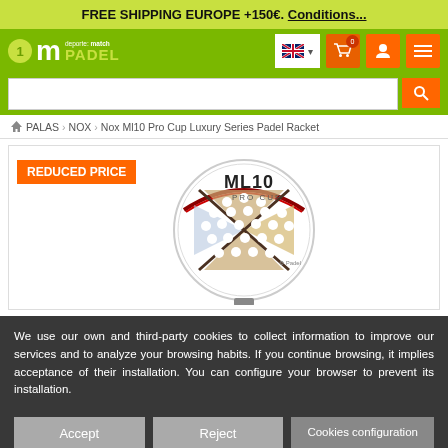FREE SHIPPING EUROPE +150€. Conditions...
[Figure (screenshot): m1 deporte match PADEL logo with green circle containing number 1]
[Figure (screenshot): Navigation bar with language selector (UK flag), cart icon with 0 badge, user icon, and menu icon]
[Figure (screenshot): Search bar with orange search button]
PALAS > NOX > Nox Ml10 Pro Cup Luxury Series Padel Racket
[Figure (photo): Nox ML10 Pro Cup padel racket face showing white circular paddle with geometric X pattern, holes, and ML10 PRO CUP branding. REDUCED PRICE badge in orange top left.]
We use our own and third-party cookies to collect information to improve our services and to analyze your browsing habits. If you continue browsing, it implies acceptance of their installation. You can configure your browser to prevent its installation.
Accept  Reject  Cookies configuration